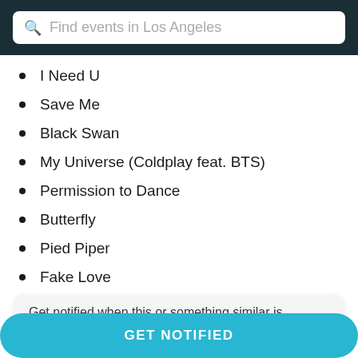[Figure (screenshot): Search bar with placeholder text 'Find events in Los Angeles' on dark teal background]
I Need U
Save Me
Black Swan
My Universe (Coldplay feat. BTS)
Permission to Dance
Butterfly
Pied Piper
Fake Love
Dynamite
Performers
Get notified when this or something similar is available
GET NOTIFIED